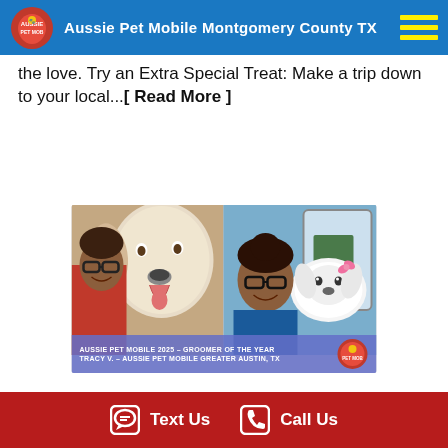Aussie Pet Mobile Montgomery County TX
the love. Try an Extra Special Treat: Make a trip down to your local...[ Read More ]
[Figure (photo): Two side-by-side photos of a groomer with dogs. Left: woman with large white/golden dog with tongue out. Right: same or similar woman with small white fluffy dog. Caption bar reads: AUSSIE PET MOBILE 2025 – GROOMER OF THE YEAR TRACY V. – AUSSIE PET MOBILE GREATER AUSTIN, TX with Aussie Pet Mobile logo.]
Text Us   Call Us